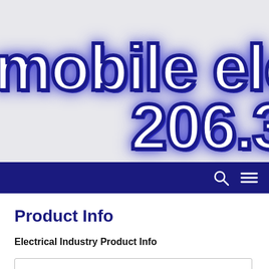[Figure (logo): Mobile electronics company banner logo with large stylized text 'mobile elect' and phone number '206.' in white with dark blue outline on light gray background]
[Figure (screenshot): Dark navy navigation bar with search icon and hamburger menu icon on the right]
Product Info
Electrical Industry Product Info